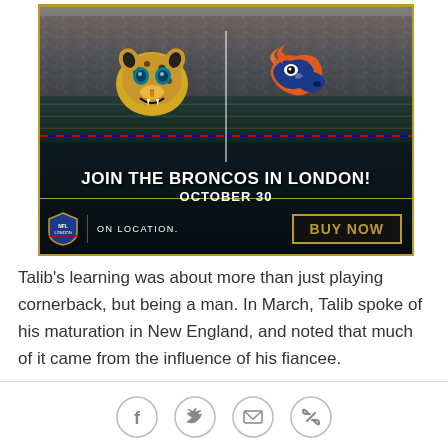[Figure (illustration): NFL London Games advertisement showing Jacksonville Jaguars vs Denver Broncos logos over a stadium background. Text reads 'JOIN THE BRONCOS IN LONDON! OCTOBER 30' with an NFL London badge, 'ON LOCATION.' text, and a 'BUY NOW' button.]
Talib's learning was about more than just playing cornerback, but being a man. In March, Talib spoke of his maturation in New England, and noted that much of it came from the influence of his fiancee.
[Figure (infographic): Social media sharing icons: Facebook, Twitter, Email, and Link/Share buttons arranged in a horizontal row.]